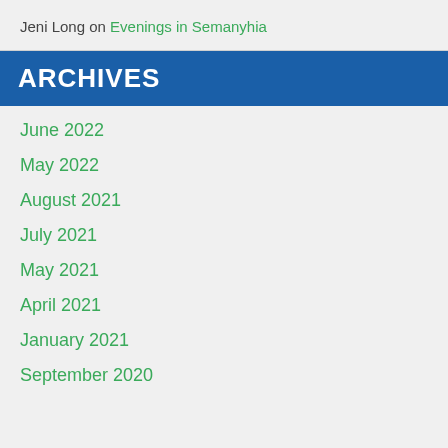Jeni Long on Evenings in Semanyhia
ARCHIVES
June 2022
May 2022
August 2021
July 2021
May 2021
April 2021
January 2021
September 2020